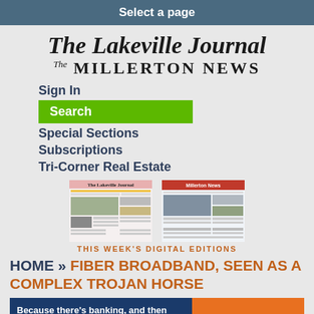Select a page
The Lakeville Journal / The Millerton News
Sign In
Search
Special Sections
Subscriptions
Tri-Corner Real Estate
[Figure (screenshot): Two newspaper front page thumbnails: The Lakeville Journal and The Millerton News]
THIS WEEK'S DIGITAL EDITIONS
HOME » FIBER BROADBAND, SEEN AS A COMPLEX TROJAN HORSE
[Figure (screenshot): Banner image with text 'Because there's banking, and then']